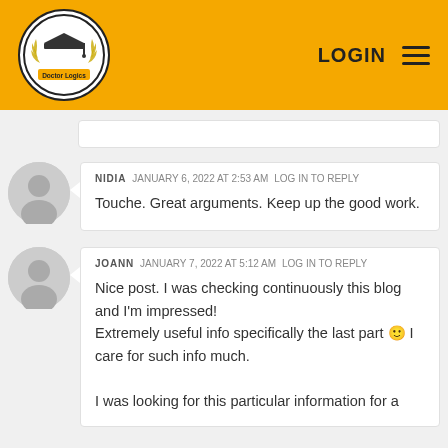[Figure (logo): Doctor Logics logo: graduation cap inside oval with wheat/laurel decoration and banner]
LOGIN ☰
NIDIA   JANUARY 6, 2022 AT 2:53 AM   LOG IN TO REPLY
Touche. Great arguments. Keep up the good work.
JOANN   JANUARY 7, 2022 AT 5:12 AM   LOG IN TO REPLY
Nice post. I was checking continuously this blog and I'm impressed!
Extremely useful info specifically the last part 🙂 I care for such info much.

I was looking for this particular information for a